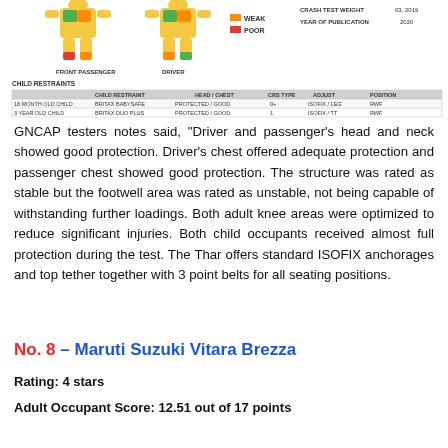[Figure (infographic): Crash test dummy figures showing front passenger and driver with color-coded body regions (green=good, orange=adequate, red=weak/poor), legend with color codes (weak, poor), and crash test weight/year of publication info on the right.]
|  | CHILD RESTRAINT | HEAD / CHEST | CRS TYPE | ADJUST | POSITION |
| --- | --- | --- | --- | --- | --- |
| 18 MONTH OLD CHILD | BRITAX BABYSAFE | PROTECTED / GOOD | 0+ | ISOFIX / LEG | RWF |
| 3 YEAR OLD CHILD | BRITAX DUO PLUS | PROTECTED / GOOD | 1 | ISOFIX / TT | RWF |
GNCAP testers notes said, “Driver and passenger’s head and neck showed good protection. Driver’s chest offered adequate protection and passenger chest showed good protection. The structure was rated as stable but the footwell area was rated as unstable, not being capable of withstanding further loadings. Both adult knee areas were optimized to reduce significant injuries. Both child occupants received almost full protection during the test. The Thar offers standard ISOFIX anchorages and top tether together with 3 point belts for all seating positions.
No. 8 – Maruti Suzuki Vitara Brezza
Rating: 4 stars
Adult Occupant Score: 12.51 out of 17 points